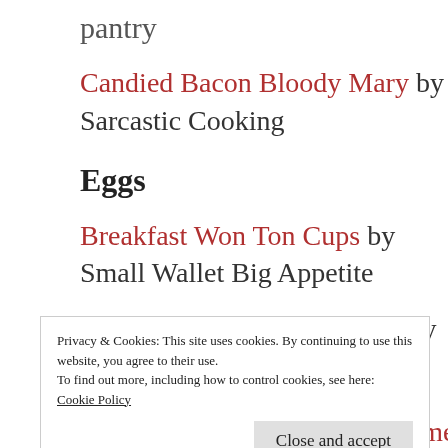pantry
Candied Bacon Bloody Mary by Sarcastic Cooking
Eggs
Breakfast Won Ton Cups by Small Wallet Big Appetite
Meat Lover's Quiche by Savory Sweet
Privacy & Cookies: This site uses cookies. By continuing to use this website, you agree to their use. To find out more, including how to control cookies, see here: Cookie Policy
Close and accept
Cherry Tomato and Chorizo Omelet by